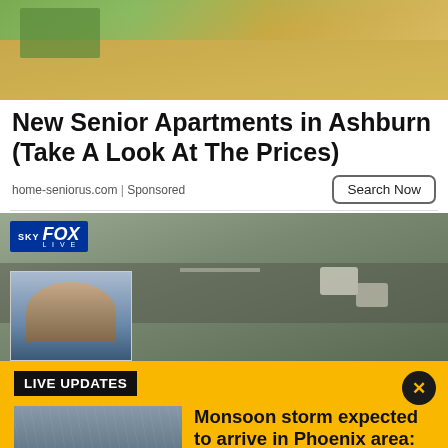[Figure (photo): Top portion of an advertisement image showing a golden/yellow textured surface with green plants visible, partial aerial or close-up view.]
New Senior Apartments in Ashburn (Take A Look At The Prices)
home-seniorus.com | Sponsored
Search Now
[Figure (photo): Sky Fox Live news broadcast aerial footage showing a road with cars from above, with an anchor thumbnail visible in the lower left corner. Sky Fox Live logo visible in upper left.]
LIVE UPDATES
[Figure (photo): Thumbnail image showing cars driving on a wet road during monsoon rain conditions.]
Monsoon storm expected to arrive in Phoenix area: Live radar, updates
The Phoenix area is expecting another round of monsoon storms as most of the state is under a flood watch through Saturday night. We have the latest on this round of wet weather.